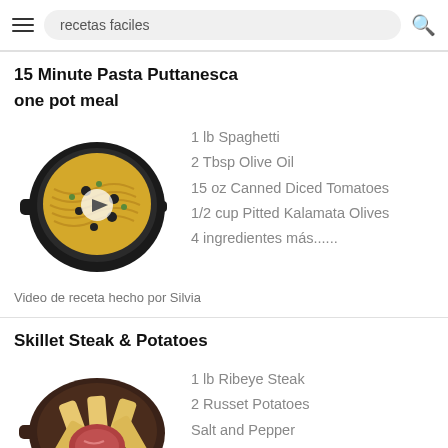recetas faciles
15 Minute Pasta Puttanesca
one pot meal
[Figure (photo): Top-down view of a cast iron skillet with spaghetti pasta puttanesca with a video play button overlay]
1 lb Spaghetti
2 Tbsp Olive Oil
15 oz Canned Diced Tomatoes
1/2 cup Pitted Kalamata Olives
4 ingredientes más......
Video de receta hecho por Silvia
Skillet Steak & Potatoes
[Figure (photo): Top-down view of a cast iron skillet with ribeye steak and potato wedges]
1 lb Ribeye Steak
2 Russet Potatoes
Salt and Pepper
Olive Oil